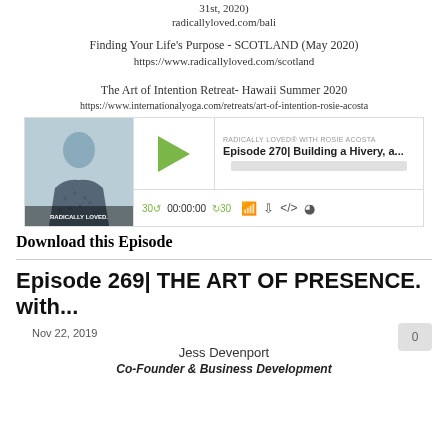31st, 2020)
radicallyloved.com/bali
Finding Your Life's Purpose - SCOTLAND (May 2020)
https://www.radicallyloved.com/scotland
The Art of Intention Retreat- Hawaii Summer 2020
https://www.internationalyoga.com/retreats/art-of-intention-rosie-acosta
[Figure (screenshot): Podcast player widget for Radically Loved with Rosie Acosta, Episode 270 Building a Hivery, a... showing play button, progress bar, and playback controls]
Download this Episode
Episode 269| THE ART OF PRESENCE. with...
Nov 22, 2019
Jess Devenport
Co-Founder & Business Development